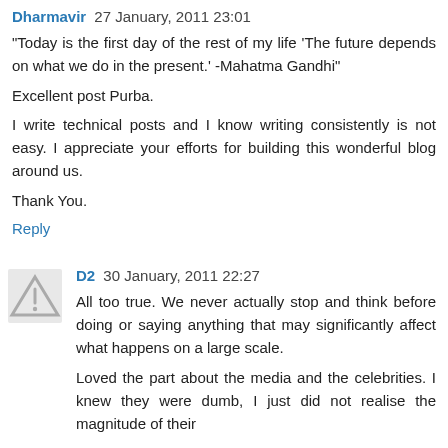Dharmavir  27 January, 2011 23:01
"Today is the first day of the rest of my life 'The future depends on what we do in the present.' -Mahatma Gandhi"
Excellent post Purba.
I write technical posts and I know writing consistently is not easy. I appreciate your efforts for building this wonderful blog around us.
Thank You.
Reply
D2  30 January, 2011 22:27
All too true. We never actually stop and think before doing or saying anything that may significantly affect what happens on a large scale.
Loved the part about the media and the celebrities. I knew they were dumb, I just did not realise the magnitude of their